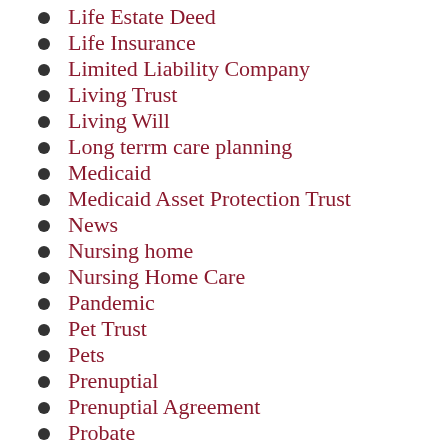Life Estate Deed
Life Insurance
Limited Liability Company
Living Trust
Living Will
Long terrm care planning
Medicaid
Medicaid Asset Protection Trust
News
Nursing home
Nursing Home Care
Pandemic
Pet Trust
Pets
Prenuptial
Prenuptial Agreement
Probate